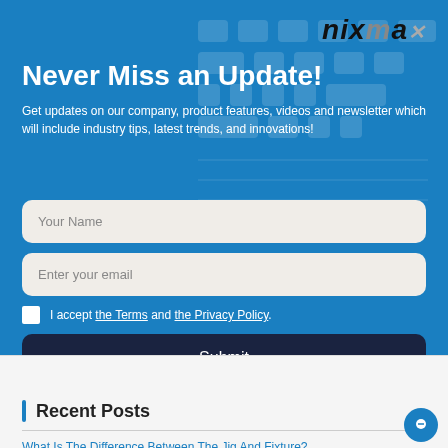[Figure (logo): Nixma logo in top right of blue section]
Never Miss an Update!
Get updates on our company, product features, videos and newsletter which will include industry tips, latest trends, and innovations!
Your Name (input field placeholder)
Enter your email (input field placeholder)
I accept the Terms and the Privacy Policy.
Submit
⚡ by Convertful
Recent Posts
What Is The Difference Between The Jig And Fixture?